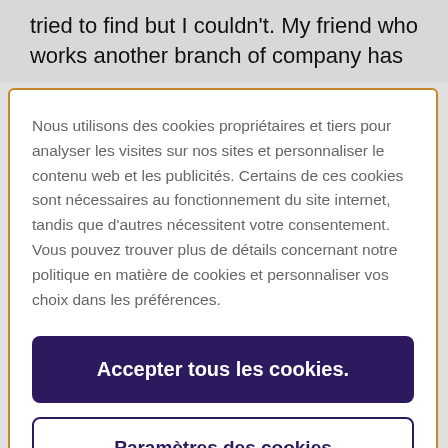tried to find but I couldn't. My friend who works another branch of company has
Nous utilisons des cookies propriétaires et tiers pour analyser les visites sur nos sites et personnaliser le contenu web et les publicités. Certains de ces cookies sont nécessaires au fonctionnement du site internet, tandis que d'autres nécessitent votre consentement. Vous pouvez trouver plus de détails concernant notre politique en matière de cookies et personnaliser vos choix dans les préférences.
Accepter tous les cookies.
Paramètres des cookies